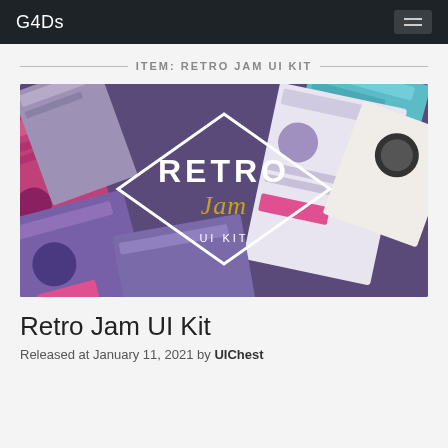G4Ds
ITEM: RETRO JAM UI KIT
[Figure (screenshot): Retro Jam UI Kit promotional image showing multiple UI screens arranged at angles with a diamond-shaped logo overlay reading 'RETRO Jam UI KIT' in white and gold text on a purple/dark background.]
Retro Jam UI Kit
Released at January 11, 2021 by UIChest